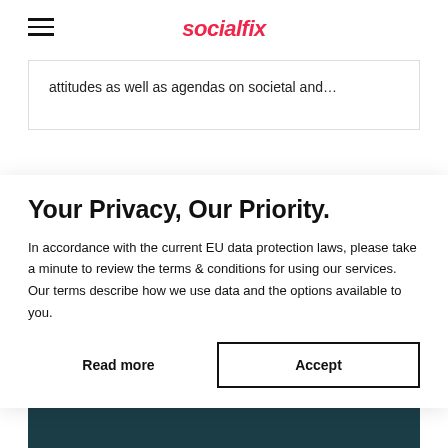socialfix
attitudes as well as agendas on societal and…
Your Privacy, Our Priority.
In accordance with the current EU data protection laws, please take a minute to review the terms & conditions for using our services. Our terms describe how we use data and the options available to you.
Read more
Accept